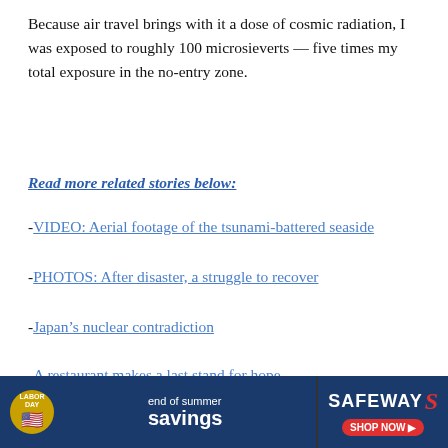Because air travel brings with it a dose of cosmic radiation, I was exposed to roughly 100 microsieverts — five times my total exposure in the no-entry zone.
Read more related stories below:
-VIDEO: Aerial footage of the tsunami-battered seaside
-PHOTOS: After disaster, a struggle to recover
-Japan’s nuclear contradiction
-A restaurant makes a last stand for hope
-Tepco pays for nuclear disaster
-Read more stories from around the world
[Figure (other): Safeway Labor Day end of summer savings advertisement banner]